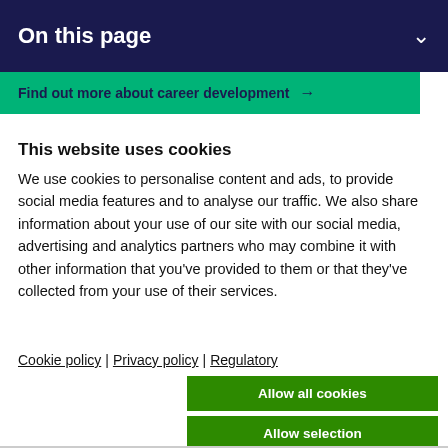On this page
[Figure (screenshot): Green banner with text: Find out more about career development and an arrow]
This website uses cookies
We use cookies to personalise content and ads, to provide social media features and to analyse our traffic. We also share information about your use of our site with our social media, advertising and analytics partners who may combine it with other information that you've provided to them or that they've collected from your use of their services.
Cookie policy | Privacy policy | Regulatory
Allow all cookies
Allow selection
Use necessary cookies only